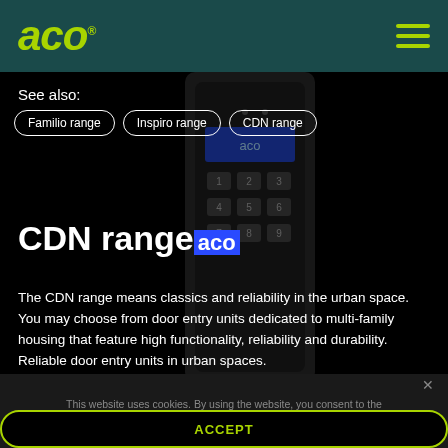[Figure (logo): ACO logo in green italic bold text on dark teal header bar, with hamburger menu icon on the right]
See also:
Familio range
Inspiro range
CDN range
[Figure (photo): Dark door entry intercom unit with numeric keypad and blue LCD display, partially visible]
CDN range
The CDN range means classics and reliability in the urban space. You may choose from door entry units dedicated to multi-family housing that feature high functionality, reliability and durability. Reliable door entry units in urban spaces.
This website uses cookies. By using the website, you consent to the use of cookies in accordance with the current browser settings.
ACCEPT